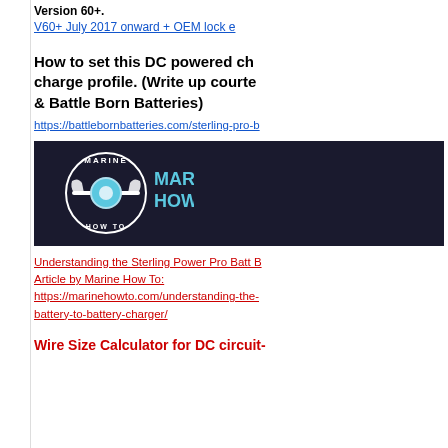Version 60+.
V60+ July 2017 onward + OEM lock e
How to set this DC powered ch charge profile. (Write up courte & Battle Born Batteries)
https://battlebornbatteries.com/sterling-pro-b
[Figure (logo): Marine How To logo on dark background — circular wrench icon with blue center and MARINE HOW TO text]
Understanding the Sterling Power Pro Batt B
Article by Marine How To:
https://marinehowto.com/understanding-the-battery-to-battery-charger/
Wire Size Calculator for DC circuit-